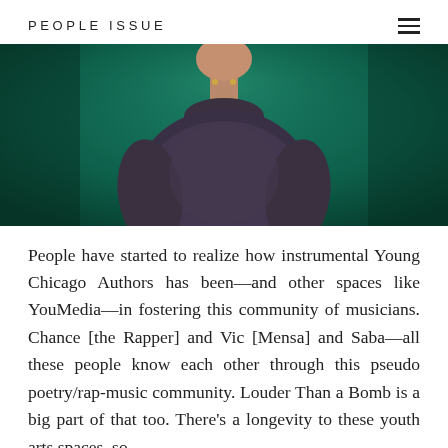PEOPLE ISSUE
[Figure (photo): Person wearing a dark marled knit sweater against a dark teal/green background, photo cropped to show torso and lower face]
People have started to realize how instrumental Young Chicago Authors has been—and other spaces like YouMedia—in fostering this community of musicians. Chance [the Rapper] and Vic [Mensa] and Saba—all these people know each other through this pseudo poetry/rap-music community. Louder Than a Bomb is a big part of that too. There's a longevity to these youth arts spaces, so